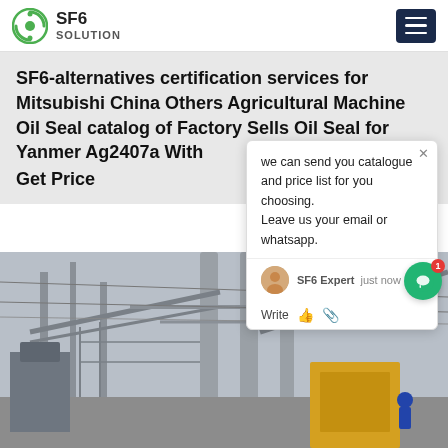SF6 SOLUTION
SF6-alternatives certification services for Mitsubishi China Others Agricultural Machine Oil Seal catalog of Factory Sells Oil Seal for Yanmer Ag2407a With Get Price
[Figure (screenshot): Chat popup showing message: we can send you catalogue and price list for you choosing. Leave us your email or whatsapp. SF6 Expert just now. Write.]
[Figure (photo): Industrial electrical substation with large metal structures, power lines, transmission towers, and yellow equipment visible in the foreground. Overcast sky.]